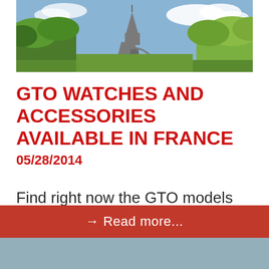[Figure (photo): Photo of the Eiffel Tower in Paris with green trees and blue sky with clouds]
GTO WATCHES AND ACCESSORIES AVAILABLE IN FRANCE
05/28/2014
Find right now the GTO models trendy and sports...
→ Read more...
[Figure (photo): Partial photo visible at the bottom of the page]